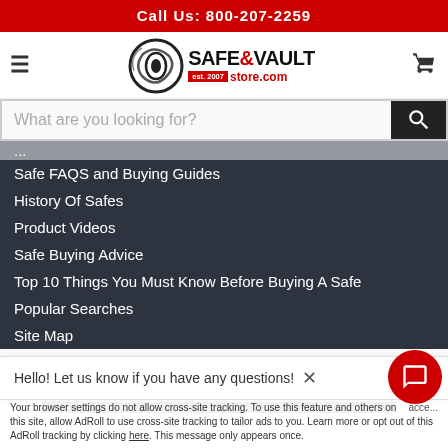Call Us: 800-207-2259
[Figure (logo): Safe & Vault Store.com logo with circular emblem and text 'SAFE & VAULT est. 2007 store.com']
What are you looking for?
Safe FAQS and Buying Guides
History Of Safes
Product Videos
Safe Buying Advice
Top 10 Things You Must Know Before Buying A Safe
Popular Searches
Site Map
$ 918.00  $ 519.00
Hello! Let us know if you have any questions!
Your browser settings do not allow cross-site tracking. To use this feature and others on this site, allow AdRoll to use cross-site tracking to tailor ads to you. Learn more or opt out of this AdRoll tracking by clicking here. This message only appears once.